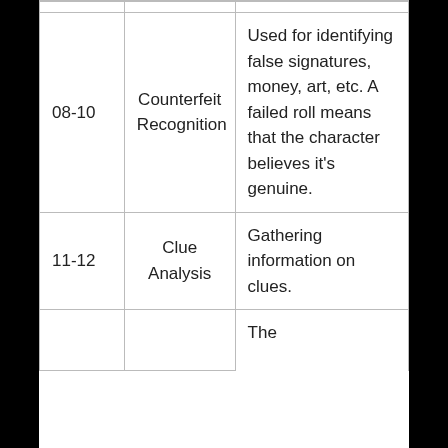| 08-10 | Counterfeit Recognition | Used for identifying false signatures, money, art, etc. A failed roll means that the character believes it's genuine. |
| 11-12 | Clue Analysis | Gathering information on clues. |
|  |  | The |